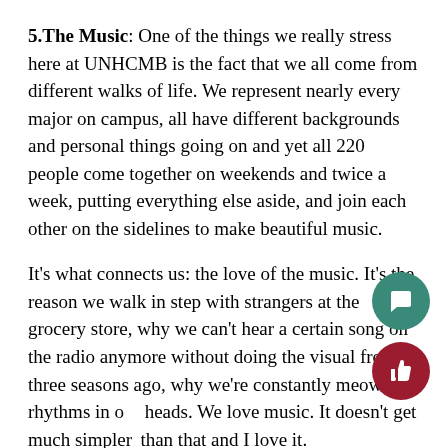5.The Music: One of the things we really stress here at UNHCMB is the fact that we all come from different walks of life. We represent nearly every major on campus, all have different backgrounds and personal things going on and yet all 220 people come together on weekends and twice a week, putting everything else aside, and join each other on the sidelines to make beautiful music.
It's what connects us: the love of the music. It's the reason we walk in step with strangers at the grocery store, why we can't hear a certain song on the radio anymore without doing the visual from three seasons ago, why we're constantly meowing rhythms in our heads. We love music. It doesn't get much simpler than that and I love it.
So the next time you see someone fumbling with